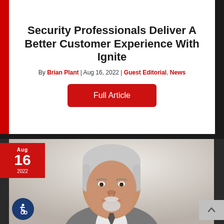Security Professionals Deliver A Better Customer Experience With Ignite
By Brian Plant | Aug 16, 2022 | Guest Editorial, News
[Figure (screenshot): Red button labeled Full Article]
[Figure (photo): Professional headshot of an older man with white/grey hair and beard, wearing a grey suit, smiling. Date badge shows Aug 16 2022 in red.]